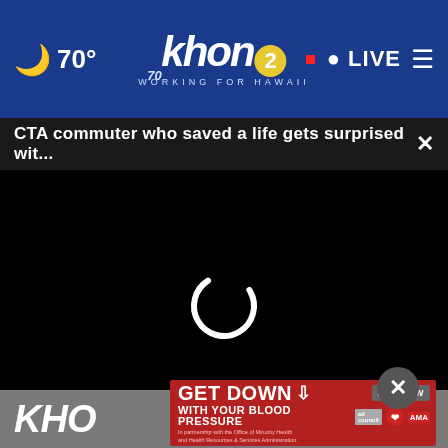70° khon2 WORKING FOR HAWAII LIVE
CTA commuter who saved a life gets surprised wit...
[Figure (screenshot): Black video player area with loading spinner (circular arc) in the center, indicating a video is buffering or loading.]
KHO
[Figure (infographic): Red advertisement banner reading GET DOWN WITH YOUR BLOOD PRESSURE with ACT NOW button and logos for ad council, American Heart Association, and AMA. In partnership with the Office of Minority Health and Health Resources & Services Administration.]